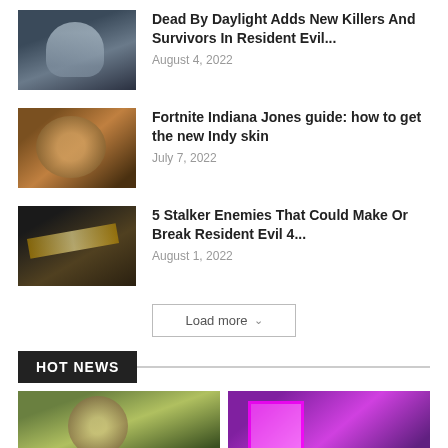[Figure (photo): Game screenshot thumbnail for Dead By Daylight Resident Evil article]
Dead By Daylight Adds New Killers And Survivors In Resident Evil...
August 4, 2022
[Figure (photo): Game screenshot thumbnail for Fortnite Indiana Jones article]
Fortnite Indiana Jones guide: how to get the new Indy skin
July 7, 2022
[Figure (photo): Game screenshot thumbnail for Stalker Enemies article]
5 Stalker Enemies That Could Make Or Break Resident Evil 4...
August 1, 2022
Load more
HOT NEWS
[Figure (photo): Hot news thumbnail 1 - game character]
[Figure (photo): Hot news thumbnail 2 - colorful game scene]